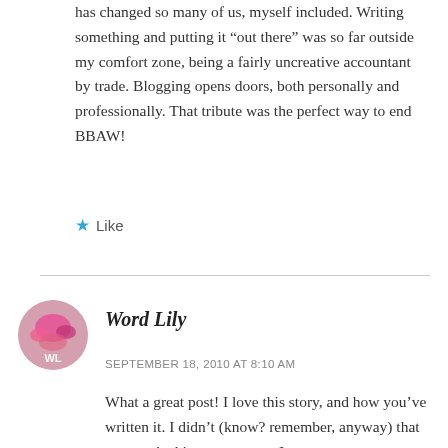has changed so many of us, myself included. Writing something and putting it “out there” was so far outside my comfort zone, being a fairly uncreative accountant by trade. Blogging opens doors, both personally and professionally. That tribute was the perfect way to end BBAW!
★ Like
[Figure (photo): Circular avatar image of Word Lily commenter, pink floral theme with initials WL]
Word Lily
SEPTEMBER 18, 2010 AT 8:10 AM
What a great post! I love this story, and how you’ve written it. I didn’t (know? remember, anyway) that you worked in newspapers; I